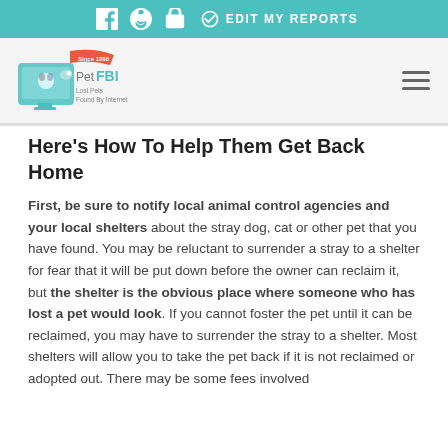EDIT MY REPORTS
[Figure (logo): Pet FBI logo - Lost Pets Found By Internet, Since 1998]
Here's How To Help Them Get Back Home
First, be sure to notify local animal control agencies and your local shelters about the stray dog, cat or other pet that you have found. You may be reluctant to surrender a stray to a shelter for fear that it will be put down before the owner can reclaim it, but the shelter is the obvious place where someone who has lost a pet would look. If you cannot foster the pet until it can be reclaimed, you may have to surrender the stray to a shelter. Most shelters will allow you to take the pet back if it is not reclaimed or adopted out. There may be some fees involved